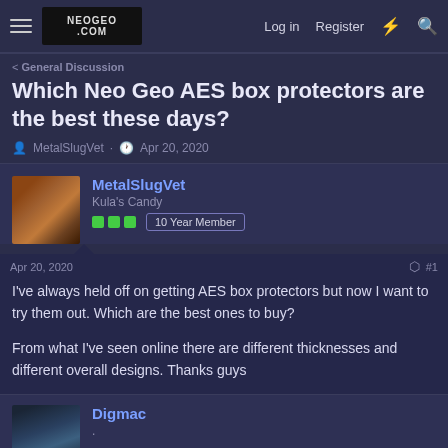NEOGEO.COM  Log in  Register
< General Discussion
Which Neo Geo AES box protectors are the best these days?
MetalSlugVet · Apr 20, 2020
MetalSlugVet
Kula's Candy
10 Year Member
Apr 20, 2020  #1
I've always held off on getting AES box protectors but now I want to try them out. Which are the best ones to buy?

From what I've seen online there are different thicknesses and different overall designs. Thanks guys
Digmac